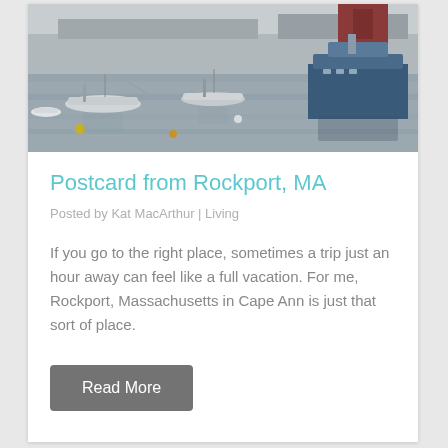[Figure (photo): Aerial view of a marina harbor with multiple boats moored on calm grey water, docks visible in background, muted blue-grey tones]
Postcard from Rockport, MA
Posted by Kat MacArthur | Living
If you go to the right place, sometimes a trip just an hour away can feel like a full vacation. For me, Rockport, Massachusetts in Cape Ann is just that sort of place.
Read More